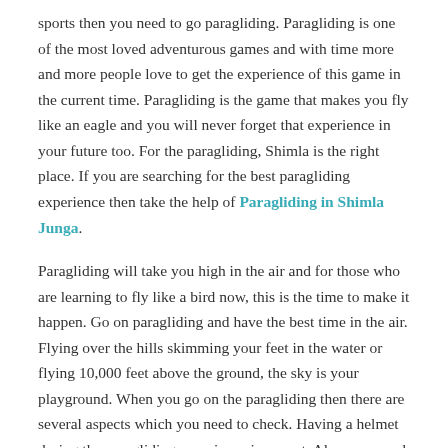sports then you need to go paragliding. Paragliding is one of the most loved adventurous games and with time more and more people love to get the experience of this game in the current time. Paragliding is the game that makes you fly like an eagle and you will never forget that experience in your future too. For the paragliding, Shimla is the right place. If you are searching for the best paragliding experience then take the help of Paragliding in Shimla Junga.
Paragliding will take you high in the air and for those who are learning to fly like a bird now, this is the time to make it happen. Go on paragliding and have the best time in the air. Flying over the hills skimming your feet in the water or flying 10,000 feet above the ground, the sky is your playground. When you go on the paragliding then there are several aspects which you need to check. Having a helmet during the paragliding experience is a must. Also, you need to wear shoes. With that, you need to take GPS, radio, and other tracking devices with you. And all these things will make your ride joyful.
Posted in Travel and Leisure   Tagged extreme sport,